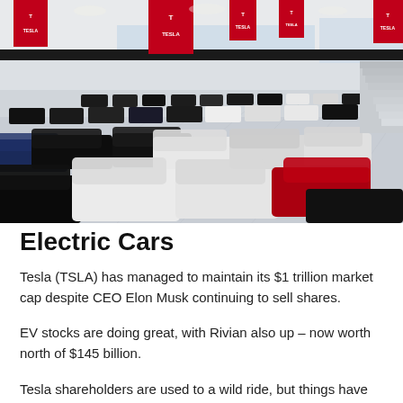[Figure (photo): Interior of a Tesla showroom/delivery center with many Tesla vehicles parked on a large floor, red Tesla banners hanging from the ceiling, and Tesla branding throughout.]
Electric Cars
Tesla (TSLA) has managed to maintain its $1 trillion market cap despite CEO Elon Musk continuing to sell shares.
EV stocks are doing great, with Rivian also up – now worth north of $145 billion.
Tesla shareholders are used to a wild ride, but things have